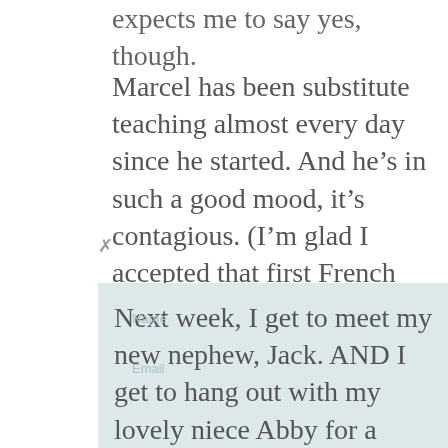expects me to say yes, though.
Marcel has been substitute teaching almost every day since he started. And he’s in such a good mood, it’s contagious. (I’m glad I accepted that first French immersion job, because he figured out he could do it and now he’s getting all kinds of jobs in French immersion schools.)
Next week, I get to meet my new nephew, Jack. AND I get to hang out with my lovely niece Abby for a